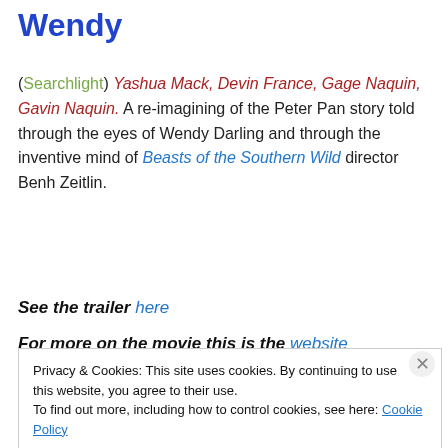Wendy
(Searchlight) Yashua Mack, Devin France, Gage Naquin, Gavin Naquin. A re-imagining of the Peter Pan story told through the eyes of Wendy Darling and through the inventive mind of Beasts of the Southern Wild director Benh Zeitlin.
See the trailer here
For more on the movie this is the website
Privacy & Cookies: This site uses cookies. By continuing to use this website, you agree to their use. To find out more, including how to control cookies, see here: Cookie Policy
Close and accept